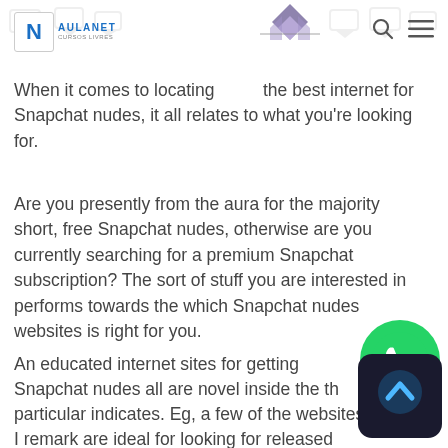AULANET
When it comes to locating the best internet for Snapchat nudes, it all relates to what you’re looking for.
Are you presently from the aura for the majority short, free Snapchat nudes, otherwise are you currently searching for a premium Snapchat subscription? The sort of stuff you are interested in performs towards the which Snapchat nudes websites is right for you.
An educated internet sites for getting Snapchat nudes all are novel inside the th particular indicates. Eg, a few of the websites I remark are ideal for looking for released Snapchat nudes. Other sites whi i feedback function better getting Snapch patterns with advanced account that you could join.
[Figure (logo): WhatsApp green phone icon]
[Figure (logo): Dark circular icon with white caret/chevron symbol]